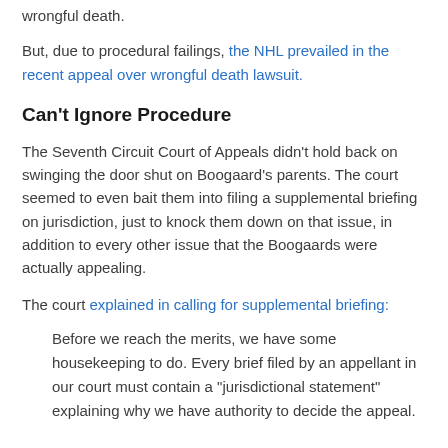wrongful death.
But, due to procedural failings, the NHL prevailed in the recent appeal over wrongful death lawsuit.
Can't Ignore Procedure
The Seventh Circuit Court of Appeals didn't hold back on swinging the door shut on Boogaard's parents. The court seemed to even bait them into filing a supplemental briefing on jurisdiction, just to knock them down on that issue, in addition to every other issue that the Boogaards were actually appealing.
The court explained in calling for supplemental briefing:
Before we reach the merits, we have some housekeeping to do. Every brief filed by an appellant in our court must contain a "jurisdictional statement" explaining why we have authority to decide the appeal.